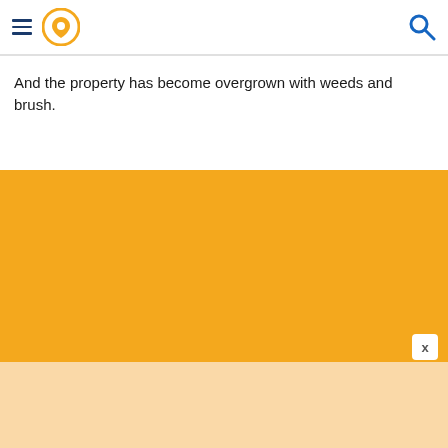navigation header with hamburger menu, location pin icon, and search icon
And the property has become overgrown with weeds and brush.
[Figure (other): Large orange/amber colored advertisement or content block with a close (X) button in the bottom right corner]
[Figure (other): Peach/light orange colored block at the bottom of the page]